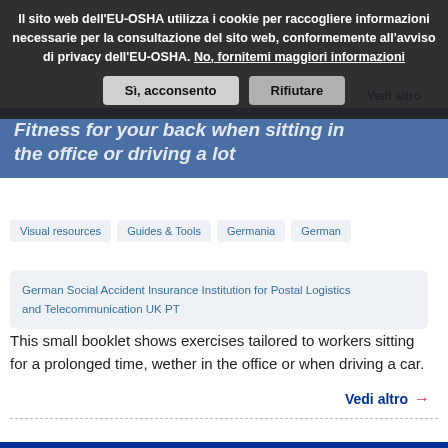Il sito web dell'EU-OSHA utilizza i cookie per raccogliere informazioni necessarie per la consultazione del sito web, conformemente all'avviso di privacy dell'EU-OSHA. No, fornitemi maggiori informazioni
Sì, acconsento
Rifiutare
Fitness for your back when sitting in the office or driving a lot
Visual resources
Guides & Tools
Germania
German
German Social Accident Insurance Institution for Postal Logistics and Telecommunication UK PT
This small booklet shows exercises tailored to workers sitting for a prolonged time, wether in the office or when driving a car.
Vedi altro →